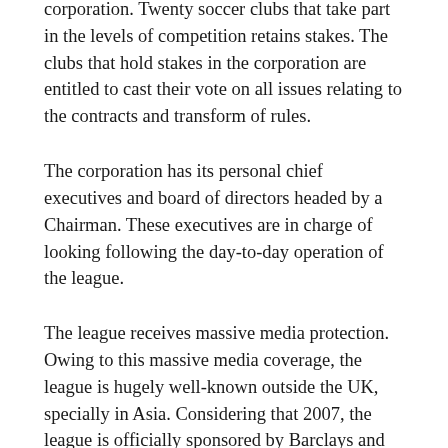corporation. Twenty soccer clubs that take part in the levels of competition retains stakes. The clubs that hold stakes in the corporation are entitled to cast their vote on all issues relating to the contracts and transform of rules.
The corporation has its personal chief executives and board of directors headed by a Chairman. These executives are in charge of looking following the day-to-day operation of the league.
The league receives massive media protection. Owing to this massive media coverage, the league is hugely well-known outside the UK, specially in Asia. Considering that 2007, the league is officially sponsored by Barclays and because then it is recognized as Barclays Premier League.
The league season begins in August and continues until Could. The stadium is usually full for almost all league video games among two key teams. Some of the main teams that participate in the league are Manchester United, Liverpool,